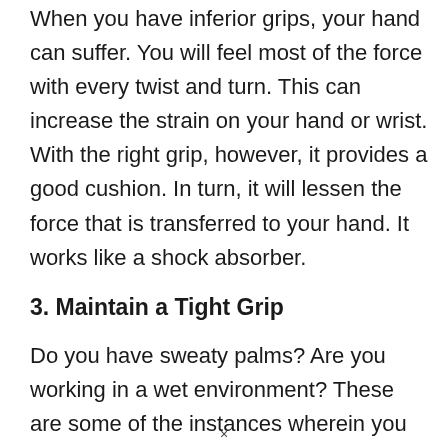When you have inferior grips, your hand can suffer. You will feel most of the force with every twist and turn. This can increase the strain on your hand or wrist. With the right grip, however, it provides a good cushion. In turn, it will lessen the force that is transferred to your hand. It works like a shock absorber.
3. Maintain a Tight Grip
Do you have sweaty palms? Are you working in a wet environment? These are some of the instances wherein you will benefit from having high-quality plier grips. They effectively
×